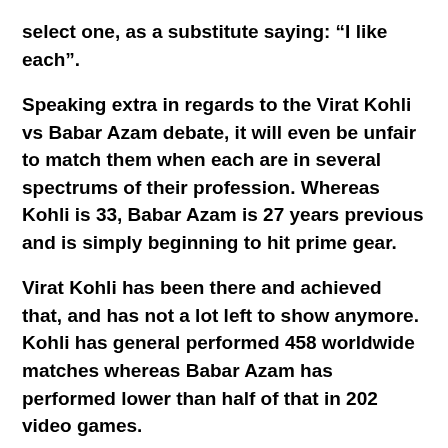select one, as a substitute saying: “I like each”.
Speaking extra in regards to the Virat Kohli vs Babar Azam debate, it will even be unfair to match them when each are in several spectrums of their profession. Whereas Kohli is 33, Babar Azam is 27 years previous and is simply beginning to hit prime gear.
Virat Kohli has been there and achieved that, and has not a lot left to show anymore. Kohli has general performed 458 worldwide matches whereas Babar Azam has performed lower than half of that in 202 video games.
Previously yr, Babar Azam has been in glowing kind and has been head and shoulders above the remaining.
Within the ongoing ODI collection in opposition to the